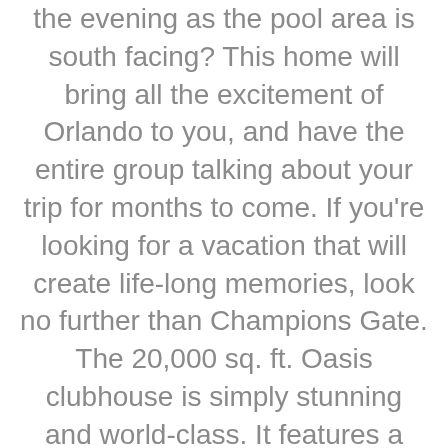the evening as the pool area is south facing? This home will bring all the excitement of Orlando to you, and have the entire group talking about your trip for months to come. If you're looking for a vacation that will create life-long memories, look no further than Champions Gate. The 20,000 sq. ft. Oasis clubhouse is simply stunning and world-class. It features a huge resort-style pool with water slides, lazy river, splash park, state-of-the-art fitness center, tiki bar and movie theatre along with a playground and volleyball